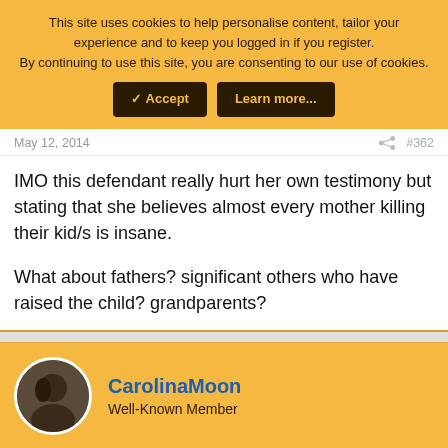This site uses cookies to help personalise content, tailor your experience and to keep you logged in if you register.
By continuing to use this site, you are consenting to our use of cookies.
✓ Accept   Learn more...
May 12, 2014
#362
IMO this defendant really hurt her own testimony but stating that she believes almost every mother killing their kid/s is insane.

What about fathers? significant others who have raised the child? grandparents?
CarolinaMoon
Well-Known Member